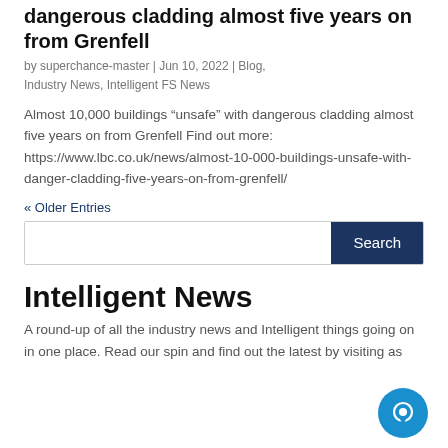dangerous cladding almost five years on from Grenfell
by superchance-master | Jun 10, 2022 | Blog, Industry News, Intelligent FS News
Almost 10,000 buildings “unsafe” with dangerous cladding almost five years on from Grenfell Find out more: https://www.lbc.co.uk/news/almost-10-000-buildings-unsafe-with-danger-cladding-five-years-on-from-grenfell/
« Older Entries
Intelligent News
A round-up of all the industry news and Intelligent things going on in one place. Read our spin and find out the latest by visiting as